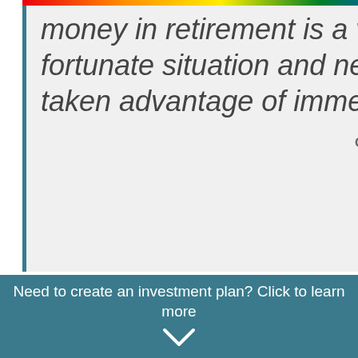money in retirement is a very fortunate situation and needs to be taken advantage of immediately.
CLICK TO TWEET
A typical retirement plan, as described here, looks like this:
Need to create an investment plan? Click to learn more